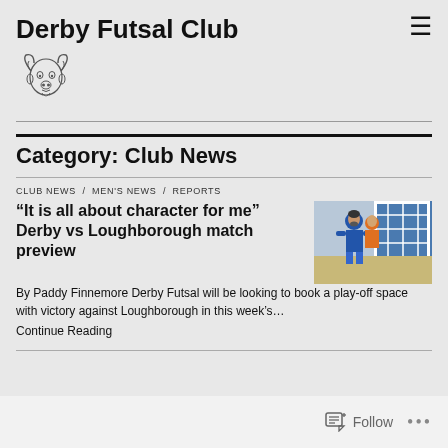Derby Futsal Club
Category: Club News
CLUB NEWS / MEN'S NEWS / REPORTS
“It is all about character for me” Derby vs Loughborough match preview
[Figure (photo): Futsal match action photo showing player in blue kit near goal with blue and white checkered net, defender in orange behind]
By Paddy Finnemore Derby Futsal will be looking to book a play-off space with victory against Loughborough in this week’s... Continue Reading
Follow